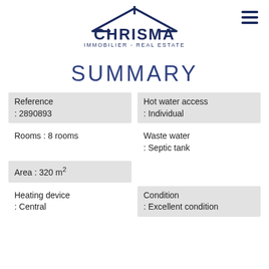CHRISMA IMMOBILIER - REAL ESTATE
SUMMARY
| Reference
: 2890893 | Hot water access
: Individual |
| Rooms : 8 rooms | Waste water
: Septic tank |
| Area : 320 m² |  |
| Heating device
: Central | Condition
: Excellent condition |